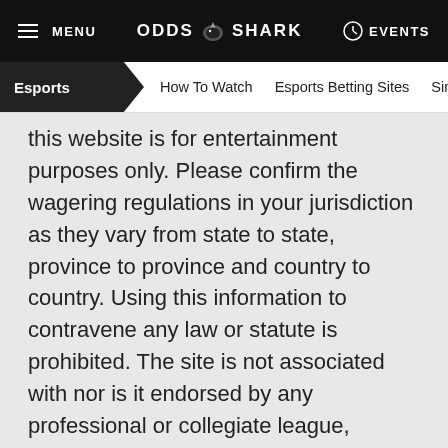MENU  ODDS SHARK  EVENTS
Esports  How To Watch  Esports Betting Sites  Sim Sports
this website is for entertainment purposes only. Please confirm the wagering regulations in your jurisdiction as they vary from state to state, province to province and country to country. Using this information to contravene any law or statute is prohibited. The site is not associated with nor is it endorsed by any professional or collegiate league, association or team. Odds Shark does not target an audience under the age of 18. Please visit gambleaware.co.uk or gamcare.org.uk for guidelines on responsible gaming.
[Figure (logo): GamCare logo — a G icon with half shark fin design and 'GAMCARE' text below, in a light square border]
[Figure (logo): 18+ age restriction logo — white '18+' text on grey rounded square background]